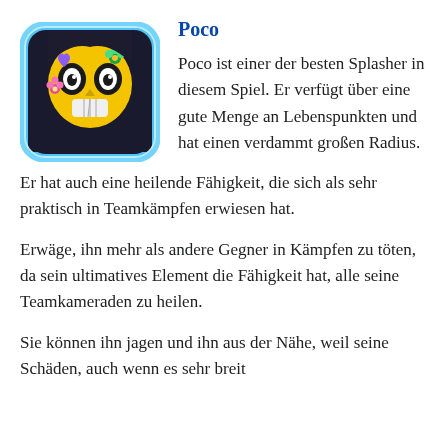[Figure (illustration): Character portrait of Poco from Brawl Stars - a skull-faced character with yellow and black coloring, heart and flower decorations, set in a rounded rectangle with blue border]
Poco
Poco ist einer der besten Splasher in diesem Spiel. Er verfügt über eine gute Menge an Lebenspunkten und hat einen verdammt großen Radius. Er hat auch eine heilende Fähigkeit, die sich als sehr praktisch in Teamkämpfen erwiesen hat.
Erwäge, ihn mehr als andere Gegner in Kämpfen zu töten, da sein ultimatives Element die Fähigkeit hat, alle seine Teamkameraden zu heilen.
Sie können ihn jagen und ihn aus der Nähe, weil seine Schäden, auch wenn es sehr breit